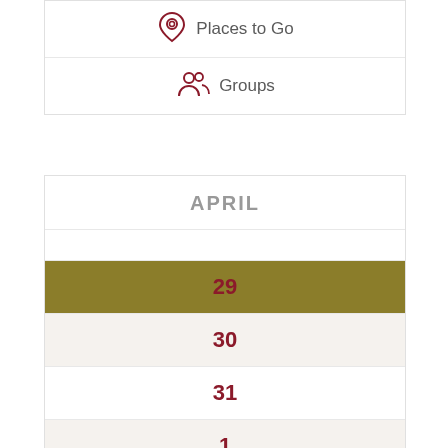Places to Go
Groups
APRIL
29
30
31
1
2
3